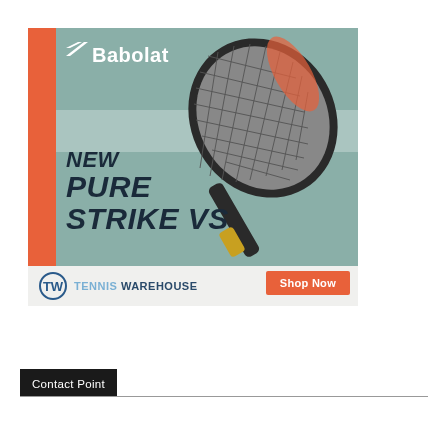[Figure (illustration): Babolat advertisement banner showing a tennis racket (Pure Strike VS) against a teal/green background with orange accent stripe. Features Babolat logo at top, racket image, bold italic text 'NEW PURE STRIKE VS', and Tennis Warehouse branding with 'Shop Now' button.]
Contact Point